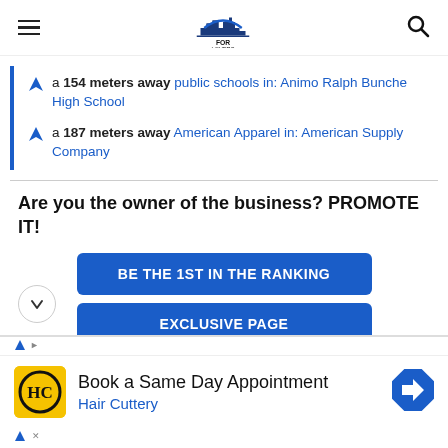FOR LA LOVERS
a 154 meters away public schools in: Animo Ralph Bunche High School
a 187 meters away American Apparel in: American Supply Company
Are you the owner of the business? PROMOTE IT!
BE THE 1ST IN THE RANKING
EXCLUSIVE PAGE
[Figure (infographic): Advertisement banner: Hair Cuttery - Book a Same Day Appointment]